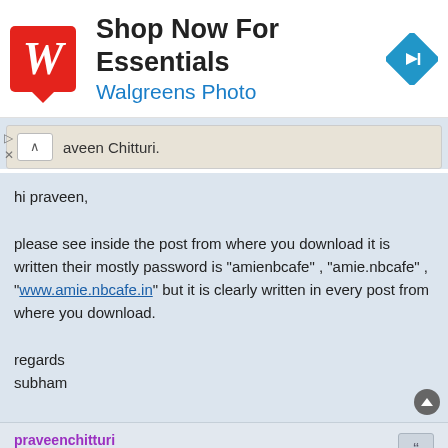[Figure (other): Walgreens advertisement banner with red logo showing stylized W, text 'Shop Now For Essentials' and 'Walgreens Photo', and a blue diamond navigation icon]
▲ aveen Chitturi.
hi praveen,

please see inside the post from where you download it is written their mostly password is "amienbcafe" , "amie.nbcafe" , "www.amie.nbcafe.in" but it is clearly written in every post from where you download.

regards
subham
praveenchitturi
Re: PREMIUM MEMBER DOWNLOADS SEC A STUDY MATERIALS
Sat Jun 29, 2013 4:32 pm
Hi subham,